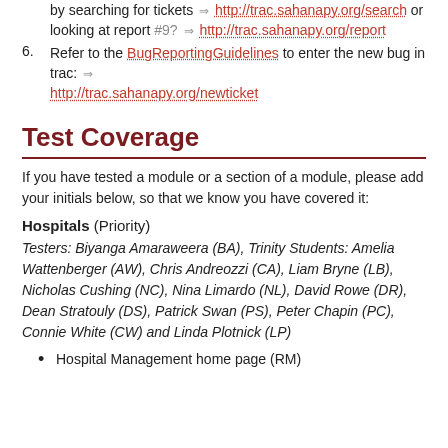by searching for tickets ⇒ http://trac.sahanapy.org/search or looking at report #9? ⇒ http://trac.sahanapy.org/report
6. Refer to the BugReportingGuidelines to enter the new bug in trac: ⇒ http://trac.sahanapy.org/newticket
Test Coverage
If you have tested a module or a section of a module, please add your initials below, so that we know you have covered it:
Hospitals (Priority)
Testers: Biyanga Amaraweera (BA), Trinity Students: Amelia Wattenberger (AW), Chris Andreozzi (CA), Liam Bryne (LB), Nicholas Cushing (NC), Nina Limardo (NL), David Rowe (DR), Dean Stratouly (DS), Patrick Swan (PS), Peter Chapin (PC), Connie White (CW) and Linda Plotnick (LP)
Hospital Management home page (RM)